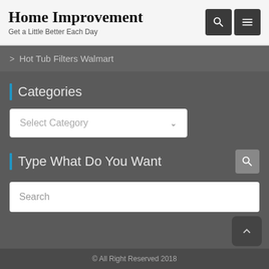Home Improvement
Get a Little Better Each Day
> Hot Tub Filters Walmart
Categories
Select Category
Type What Do You Want
Search
© All Right Reserved 2018